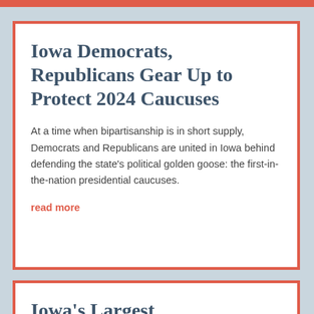Iowa Democrats, Republicans Gear Up to Protect 2024 Caucuses
At a time when bipartisanship is in short supply, Democrats and Republicans are united in Iowa behind defending the state's political golden goose: the first-in-the-nation presidential caucuses.
read more
Iowa's Largest Companies Have